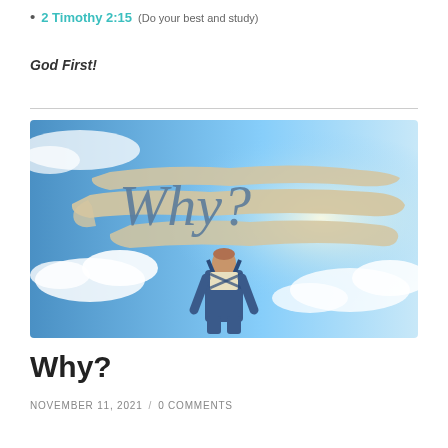2 Timothy 2:15 (Do your best and study)
God First!
[Figure (photo): A person in overalls seen from behind, looking upward at the sky where the word 'Why?' is written in large script on a painted banner, set against a blue sky with clouds.]
Why?
NOVEMBER 11, 2021 / 0 COMMENTS